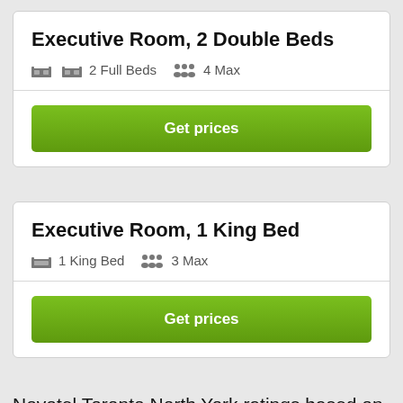Executive Room, 2 Double Beds
2 Full Beds  4 Max
Get prices
Executive Room, 1 King Bed
1 King Bed  3 Max
Get prices
Novotel Toronto North York ratings based on 3 Verified Reviews